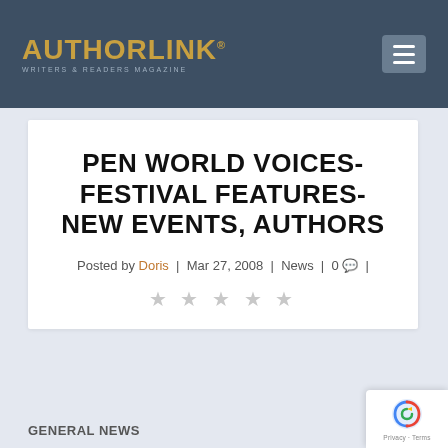AUTHORLINK® WRITERS & READERS MAGAZINE
PEN WORLD VOICES-FESTIVAL FEATURES-NEW EVENTS, AUTHORS
Posted by Doris | Mar 27, 2008 | News | 0 |
GENERAL NEWS